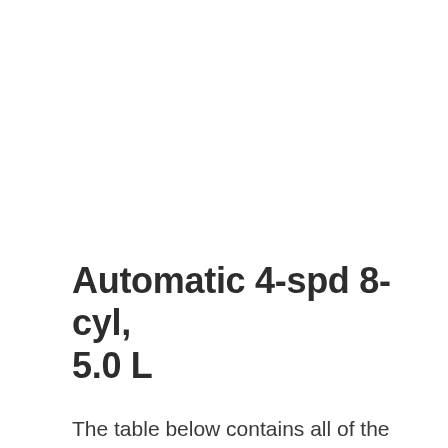Automatic 4-spd 8-cyl, 5.0 L
The table below contains all of the details we have for the 1987 Ford E150 Econoline 2WD Automatic 4-spd 8-cyl,